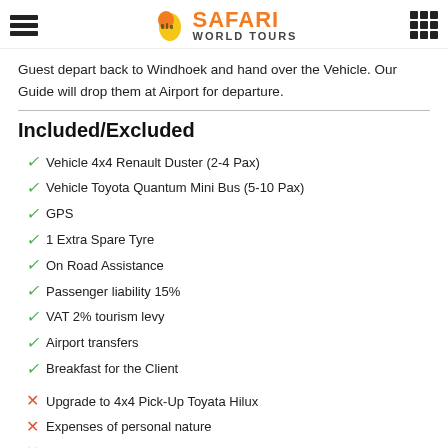Safari World Tours
Guest depart back to Windhoek and hand over the Vehicle. Our Guide will drop them at Airport for departure.
Included/Excluded
Vehicle 4x4 Renault Duster (2-4 Pax)
Vehicle Toyota Quantum Mini Bus (5-10 Pax)
GPS
1 Extra Spare Tyre
On Road Assistance
Passenger liability 15%
VAT 2% tourism levy
Airport transfers
Breakfast for the Client
Upgrade to 4x4 Pick-Up Toyata Hilux
Expenses of personal nature
Fuel Cost for Duration of Tour
Vehicle Rental Deposit
Entrance fees not mentioned in the itinerary